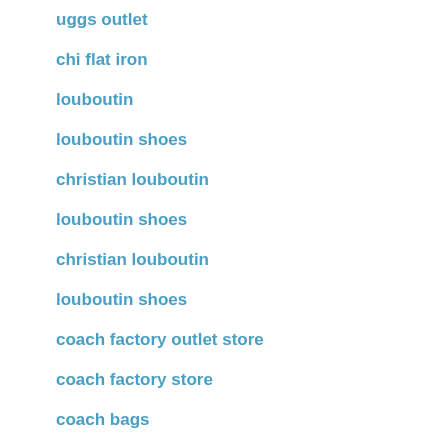uggs outlet
chi flat iron
louboutin
louboutin shoes
christian louboutin
louboutin shoes
christian louboutin
louboutin shoes
coach factory outlet store
coach factory store
coach bags